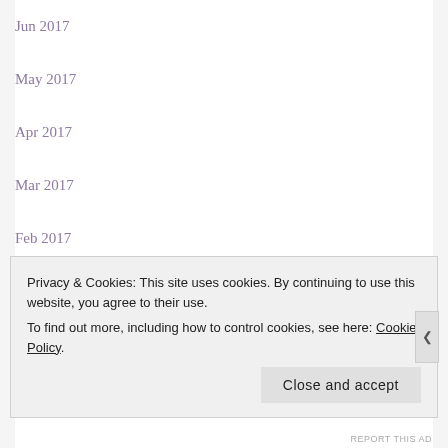Jun 2017
May 2017
Apr 2017
Mar 2017
Feb 2017
Jan 2017
Dec 2016
Privacy & Cookies: This site uses cookies. By continuing to use this website, you agree to their use. To find out more, including how to control cookies, see here: Cookie Policy
REPORT THIS AD